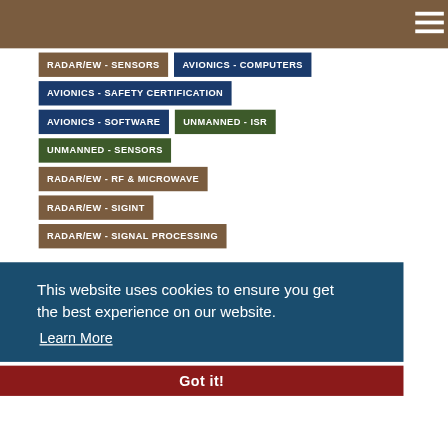RADAR/EW - SENSORS
AVIONICS - COMPUTERS
AVIONICS - SAFETY CERTIFICATION
AVIONICS - SOFTWARE
UNMANNED - ISR
UNMANNED - SENSORS
RADAR/EW - RF & MICROWAVE
RADAR/EW - SIGINT
RADAR/EW - SIGNAL PROCESSING
This website uses cookies to ensure you get the best experience on our website. Learn More
Got it!